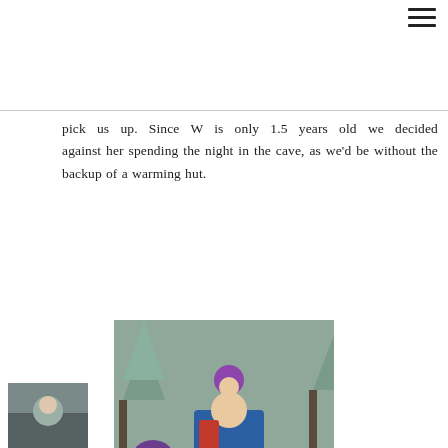pick us up. Since W is only 1.5 years old we decided against her spending the night in the cave, as we'd be without the backup of a warming hut.
[Figure (photo): A person carrying a young child in a backpack carrier and another child in purple jacket walking through a snowy forest trail]
[Figure (photo): Partial thumbnail photo at the bottom left of page]